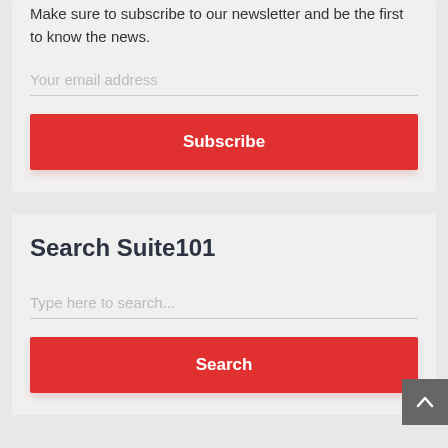Make sure to subscribe to our newsletter and be the first to know the news.
Your email address
Subscribe
Search Suite101
Type here to search...
Search